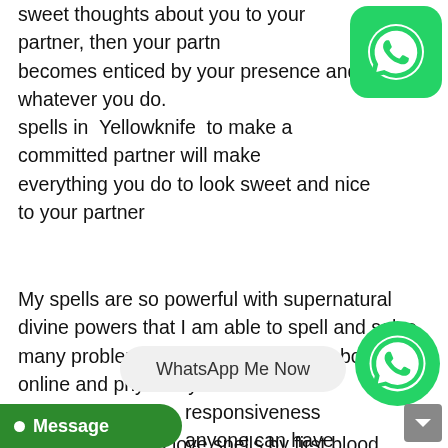sweet thoughts about you to your partner, then your partner becomes enticed by your presence and whatever you do. spells in Yellowknife to make a committed partner will make everything you do to look sweet and nice to your partner
My spells are so powerful with supernatural divine powers that I am able to spell and solve many problems and diseases. I work both online and physically.
Powerful working love spells by first blood trusted and authentic spells caster in the world. I am dr. honey love, a powerful spells caster. Are you having love, marriage, and money-related problems? Cast love spells in Yellowknife with me now. My spells are fast and work wherever you are in the world
strongest responsiveness anyone can have in this